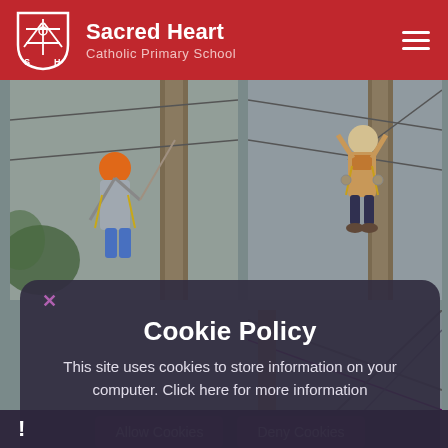Sacred Heart Catholic Primary School
[Figure (photo): Two photos of children doing outdoor climbing/zip-line activity on wooden poles with harnesses and helmets, overlaid with a cookie consent dialog]
Cookie Policy
This site uses cookies to store information on your computer. Click here for more information
Allow Cookies   Deny Cookies